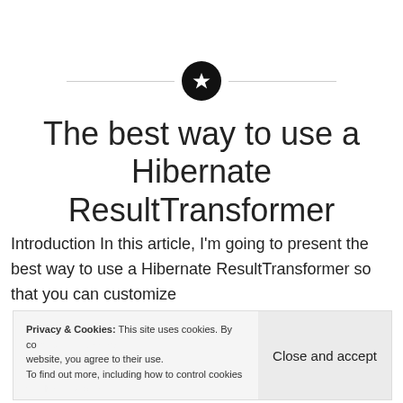[Figure (illustration): A black circle with a white star icon, flanked by horizontal gray divider lines on each side]
The best way to use a Hibernate ResultTransformer
Introduction In this article, I'm going to present the best way to use a Hibernate ResultTransformer so that you can customize
Privacy & Cookies: This site uses cookies. By continuing to use this website, you agree to their use. To find out more, including how to control cookies, see here: Cookie Policy | Close and accept